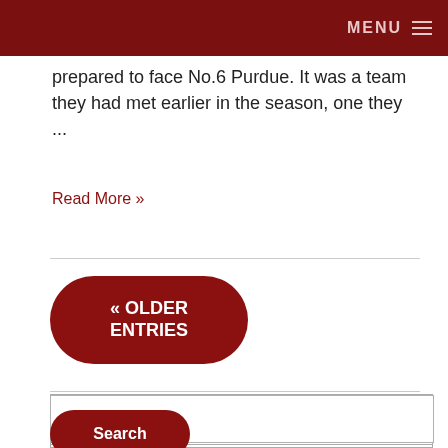MENU
prepared to face No.6 Purdue. It was a team they had met earlier in the season, one they ...
Read More »
« OLDER ENTRIES
Search